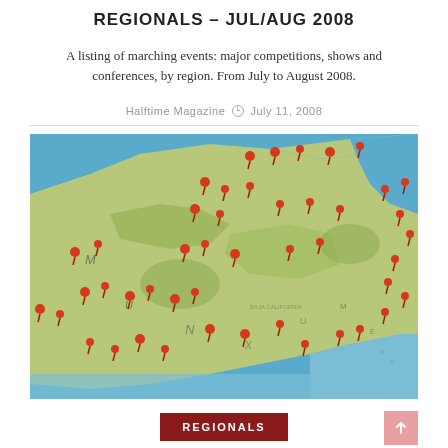REGIONALS – JUL/AUG 2008
A listing of marching events: major competitions, shows and conferences, by region. From July to August 2008.
Halftime Magazine   July 11, 2008
[Figure (map): A physical map with numerous red pushpins marking locations, showing a region with green terrain and blue water bodies.]
REGIONALS
REGIONALS – MAY/JUNE 2008